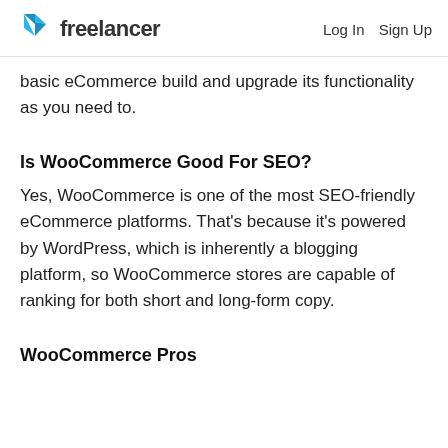freelancer  Log In  Sign Up
basic eCommerce build and upgrade its functionality as you need to.
Is WooCommerce Good For SEO?
Yes, WooCommerce is one of the most SEO-friendly eCommerce platforms. That's because it's powered by WordPress, which is inherently a blogging platform, so WooCommerce stores are capable of ranking for both short and long-form copy.
WooCommerce Pros